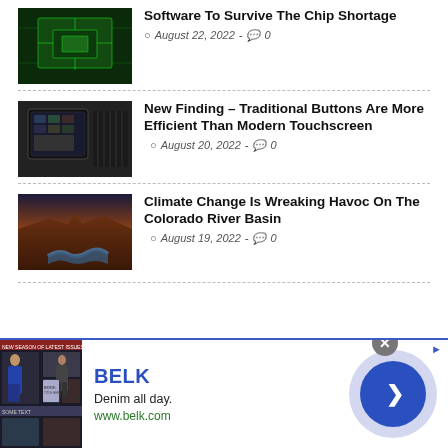[Figure (photo): Green circuit board/chip from above with green digital overlay]
Software To Survive The Chip Shortage
August 22, 2022 - 0
[Figure (photo): Car interior showing large touchscreen infotainment system]
New Finding – Traditional Buttons Are More Efficient Than Modern Touchscreen
August 20, 2022 - 0
[Figure (photo): Aerial view of Colorado River basin with canyon and sunset sky]
Climate Change Is Wreaking Havoc On The Colorado River Basin
August 19, 2022 - 0
[Figure (photo): Advertisement banner for Belk with denim fashion images]
BELK
Denim all day.
www.belk.com